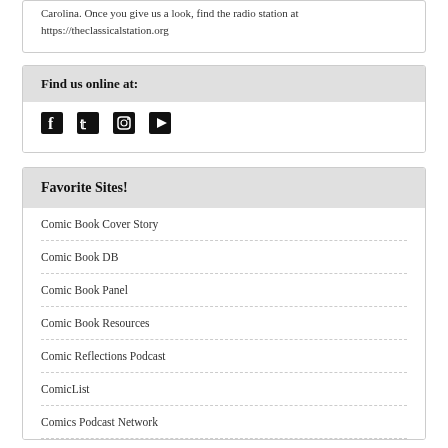Carolina. Once you give us a look, find the radio station at https://theclassicalstation.org
Find us online at:
[Figure (other): Social media icons: Facebook, Twitter, Instagram, YouTube]
Favorite Sites!
Comic Book Cover Story
Comic Book DB
Comic Book Panel
Comic Book Resources
Comic Reflections Podcast
ComicList
Comics Podcast Network